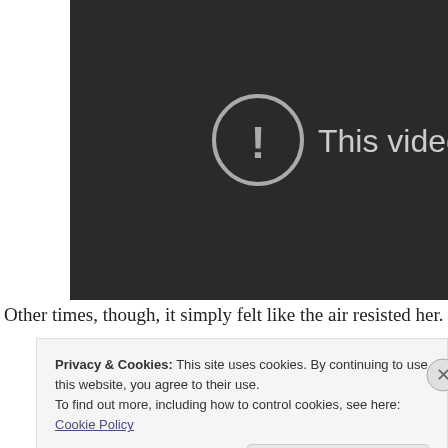[Figure (screenshot): Dark video player area showing a private video error with a circle-exclamation icon and text 'This video is priva' (cut off)]
Other times, though, it simply felt like the air resisted her.
Privacy & Cookies: This site uses cookies. By continuing to use this website, you agree to their use.
To find out more, including how to control cookies, see here: Cookie Policy
Close and accept